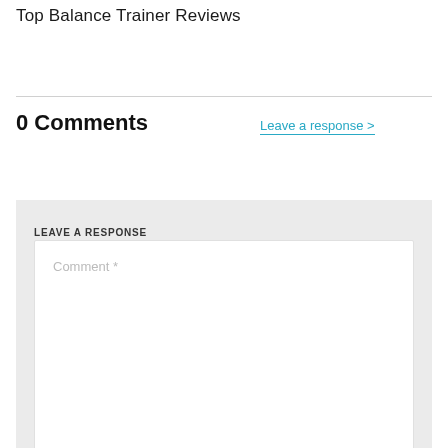Top Balance Trainer Reviews
0 Comments
Leave a response >
LEAVE A RESPONSE
Comment *